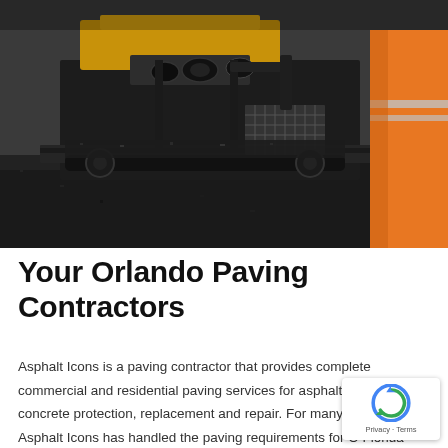[Figure (photo): Close-up photo of an asphalt paving machine laying fresh black asphalt on a road. The yellow and black heavy machinery occupies the center and background. A worker wearing an orange high-visibility safety vest is visible on the right edge.]
Your Orlando Paving Contractors
Asphalt Icons is a paving contractor that provides complete commercial and residential paving services for asphalt and concrete protection, replacement and repair. For many ye Asphalt Icons has handled the paving requirements for O Florida and surrounding areas. Specializing in all phases of